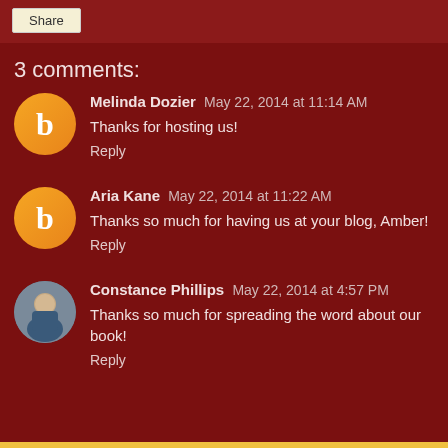Share
3 comments:
Melinda Dozier  May 22, 2014 at 11:14 AM
Thanks for hosting us!
Reply
Aria Kane  May 22, 2014 at 11:22 AM
Thanks so much for having us at your blog, Amber!
Reply
Constance Phillips  May 22, 2014 at 4:57 PM
Thanks so much for spreading the word about our book!
Reply